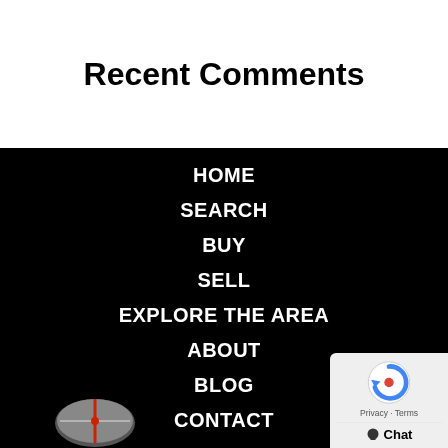Recent Comments
HOME
SEARCH
BUY
SELL
EXPLORE THE AREA
ABOUT
BLOG
CONTACT
[Figure (logo): reCAPTCHA badge with blue circular arrow logo, Privacy and Terms links, and Chat button]